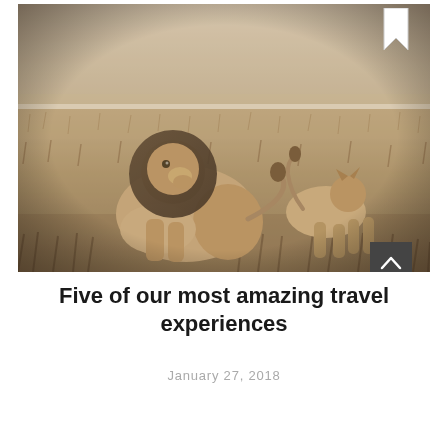[Figure (photo): Sepia-toned photograph of two lions on an African savanna grassland — a large male lion with a dark mane sitting on the left, and a smaller cub or younger lion walking away on the right. The landscape is dry with golden-brown grass.]
Five of our most amazing travel experiences
January 27, 2018